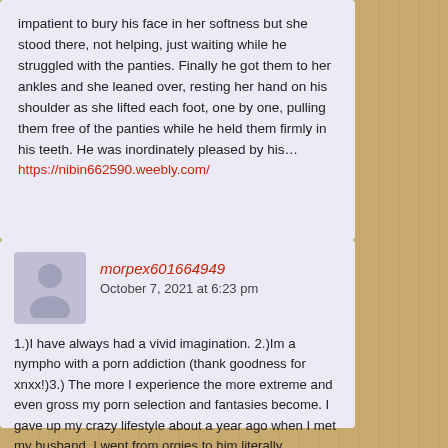impatient to bury his face in her softness but she stood there, not helping, just waiting while he struggled with the panties. Finally he got them to her ankles and she leaned over, resting her hand on his shoulder as she lifted each foot, one by one, pulling them free of the panties while he held them firmly in his teeth. He was inordinately pleased by his… https://nibin662590.weebly.com/
morpex601664949
October 7, 2021 at 6:23 pm
1.)I have always had a vivid imagination. 2.)Im a nympho with a porn addiction (thank goodness for xnxx!)3.) The more I experience the more extreme and even gross my porn selection and fantasies become. I gave up my crazy lifestyle about a year ago when I met my husband. I went from orgies to him literally overnight. He kept me so consumed working on his problems and